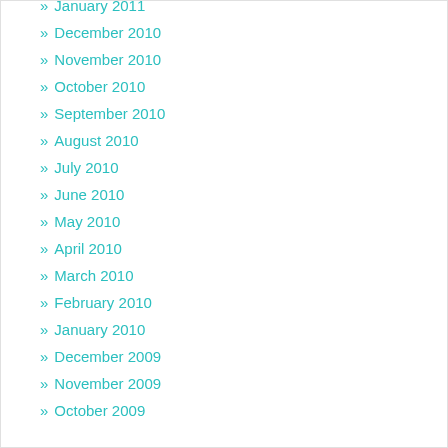» January 2011
» December 2010
» November 2010
» October 2010
» September 2010
» August 2010
» July 2010
» June 2010
» May 2010
» April 2010
» March 2010
» February 2010
» January 2010
» December 2009
» November 2009
» October 2009